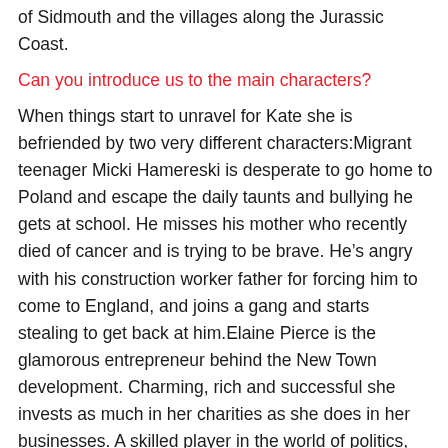of Sidmouth and the villages along the Jurassic Coast.
Can you introduce us to the main characters?
When things start to unravel for Kate she is befriended by two very different characters:Migrant teenager Micki Hamereski is desperate to go home to Poland and escape the daily taunts and bullying he gets at school. He misses his mother who recently died of cancer and is trying to be brave. He’s angry with his construction worker father for forcing him to come to England, and joins a gang and starts stealing to get back at him.Elaine Pierce is the glamorous entrepreneur behind the New Town development. Charming, rich and successful she invests as much in her charities as she does in her businesses. A skilled player in the world of politics, big business, risk taking and hiding her motives, she champions Kate’s work